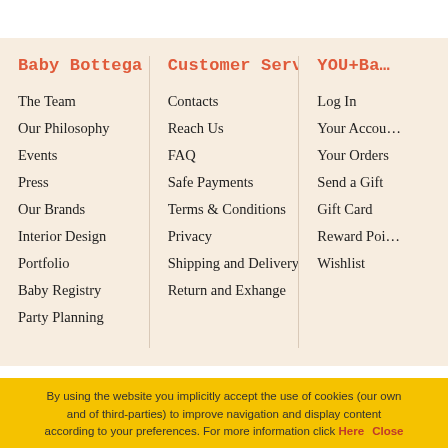Baby Bottega
The Team
Our Philosophy
Events
Press
Our Brands
Interior Design
Portfolio
Baby Registry
Party Planning
Customer Service
Contacts
Reach Us
FAQ
Safe Payments
Terms & Conditions
Privacy
Shipping and Delivery
Return and Exhange
YOU+Ba...
Log In
Your Accou...
Your Orders
Send a Gift
Gift Card
Reward Poi...
Wishlist
By using the website you implicitly accept the use of cookies (our own and of third-parties) to improve navigation and display content according to your preferences. For more information click Here   Close